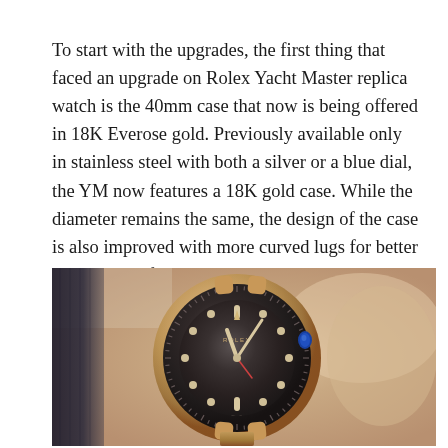To start with the upgrades, the first thing that faced an upgrade on Rolex Yacht Master replica watch is the 40mm case that now is being offered in 18K Everose gold. Previously available only in stainless steel with both a silver or a blue dial, the YM now features a 18K gold case. While the diameter remains the same, the design of the case is also improved with more curved lugs for better wearing comfort. Water resistance rating is still at 100m.
[Figure (photo): Close-up photo of a Rolex Yacht Master watch on a wrist. The watch features a rose gold case and bracelet, a dark ceramic bezel, and a dark dial with circular hour markers. The number 40 is visible on the bezel. A blue crown/pusher is visible at the 3 o'clock position. The watch is on a wrist with a dark fabric strap visible on the left side of the frame.]